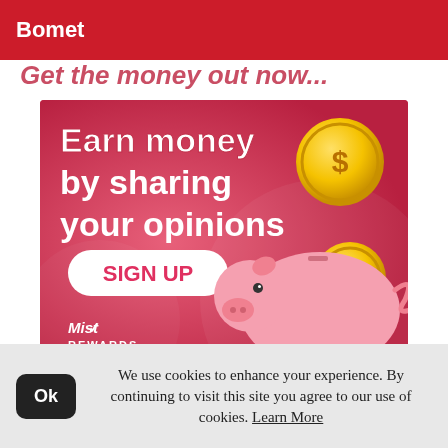Bomet
Get the money out now...
[Figure (illustration): Advertisement for Mist Rewards showing text 'Earn money by sharing your opinions', a SIGN UP button, a piggy bank illustration, and gold dollar coins on a pink/red background.]
Prof Barchok said there has been a marked
We use cookies to enhance your experience. By continuing to visit this site you agree to our use of cookies. Learn More